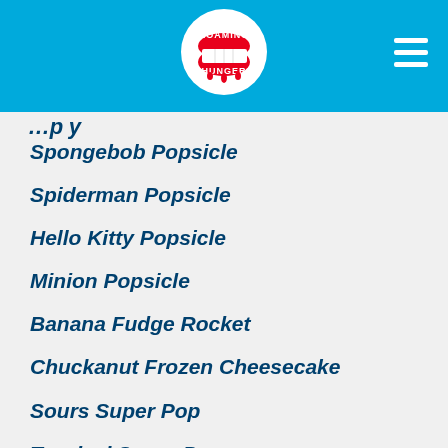Roaming Hunger
Spongebob Popsicle
Spiderman Popsicle
Hello Kitty Popsicle
Minion Popsicle
Banana Fudge Rocket
Chuckanut Frozen Cheesecake
Sours Super Pop
Tropical Super Pop